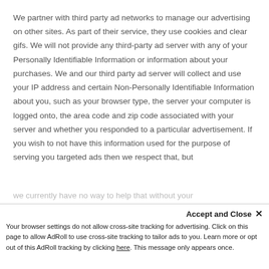We partner with third party ad networks to manage our advertising on other sites. As part of their service, they use cookies and clear gifs. We will not provide any third-party ad server with any of your Personally Identifiable Information or information about your purchases. We and our third party ad server will collect and use your IP address and certain Non-Personally Identifiable Information about you, such as your browser type, the server your computer is logged onto, the area code and zip code associated with your server and whether you responded to a particular advertisement. If you wish to not have this information used for the purpose of serving you targeted ads then we respect that, but
we currently have no way to help that without your...
Accept and Close ×
Your browser settings do not allow cross-site tracking for advertising. Click on this page to allow AdRoll to use cross-site tracking to tailor ads to you. Learn more or opt out of this AdRoll tracking by clicking here. This message only appears once.